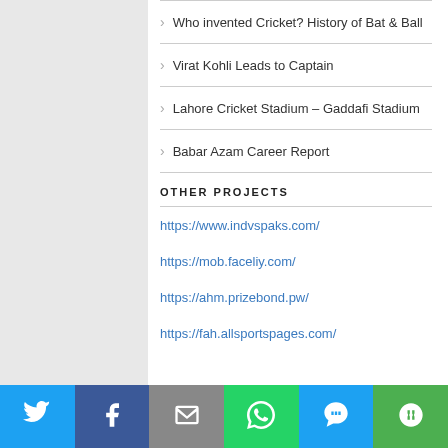Who invented Cricket? History of Bat & Ball
Virat Kohli Leads to Captain
Lahore Cricket Stadium – Gaddafi Stadium
Babar Azam Career Report
OTHER PROJECTS
https://www.indvspaks.com/
https://mob.faceliy.com/
https://ahm.prizebond.pw/
https://fah.allsportspages.com/
Twitter | Facebook | Email | WhatsApp | SMS | More